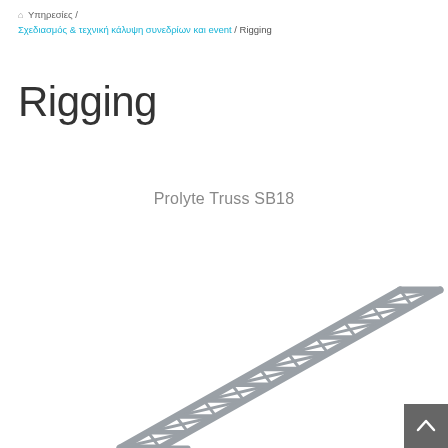🏠 Υπηρεσίες / Σχεδιασμός & τεχνική κάλυψη συνεδρίων και event / Rigging
Rigging
Prolyte Truss SB18
[Figure (photo): Prolyte Truss SB18 - a silver/grey aluminium ladder truss structure shown diagonally from lower-left to upper-right against a white background]